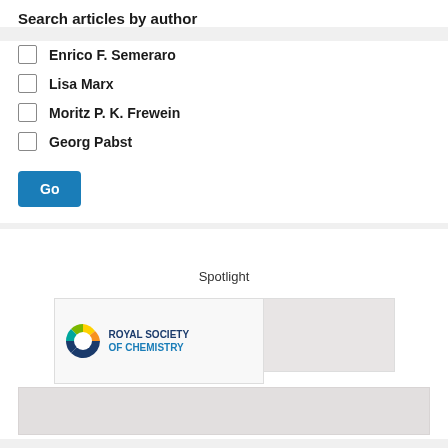Search articles by author
Enrico F. Semeraro
Lisa Marx
Moritz P. K. Frewein
Georg Pabst
Go
Spotlight
[Figure (logo): Royal Society of Chemistry logo with colorful C icon and text 'ROYAL SOCIETY OF CHEMISTRY']